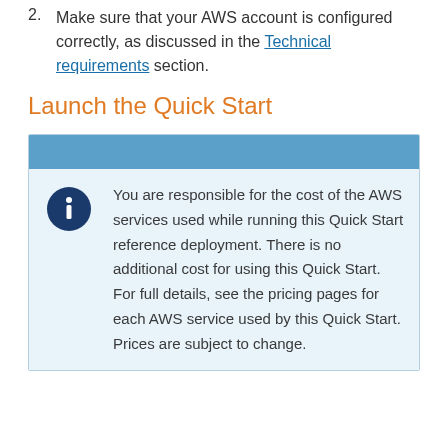2. Make sure that your AWS account is configured correctly, as discussed in the Technical requirements section.
Launch the Quick Start
You are responsible for the cost of the AWS services used while running this Quick Start reference deployment. There is no additional cost for using this Quick Start. For full details, see the pricing pages for each AWS service used by this Quick Start. Prices are subject to change.